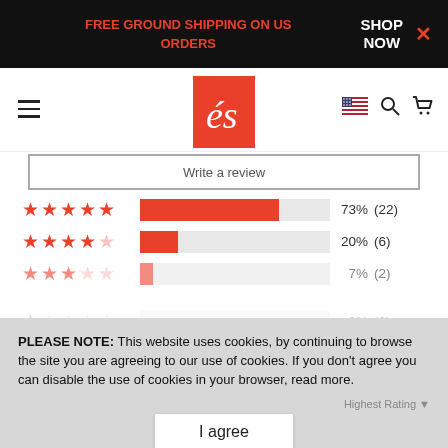FREE GROUND SHIPPING ON US ORDERS   SHOP NOW
[Figure (logo): és skate shoe brand logo — stylized cursive 'és' in white on red background]
Write a review
[Figure (bar-chart): Rating distribution]
PLEASE NOTE: This website uses cookies, by continuing to browse the site you are agreeing to our use of cookies. If you don't agree you can disable the use of cookies in your browser, read more.
I agree
Highest Rating
A  Aaron Paulson  Verified